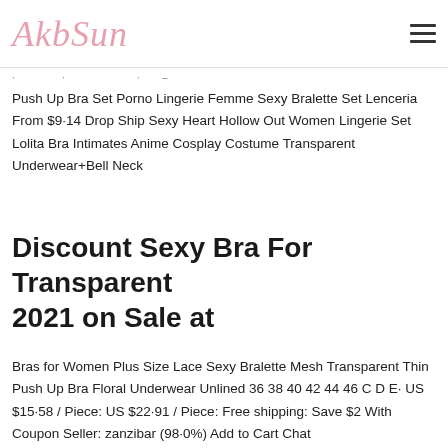[Figure (logo): AkbSun cursive pink logo in top left]
Push Up Bra Set Porno Lingerie Femme Sexy Bralette Set Lenceria From $9·14 Drop Ship Sexy Heart Hollow Out Women Lingerie Set Lolita Bra Intimates Anime Cosplay Costume Transparent Underwear+Bell Neck
Discount Sexy Bra For Transparent 2021 on Sale at
Bras for Women Plus Size Lace Sexy Bralette Mesh Transparent Thin Push Up Bra Floral Underwear Unlined 36 38 40 42 44 46 C D E· US $15·58 / Piece: US $22·91 / Piece: Free shipping: Save $2 With Coupon Seller: zanzibar (98·0%) Add to Cart Chat